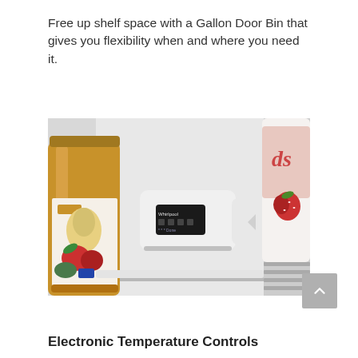Free up shelf space with a Gallon Door Bin that gives you flexibility when and where you need it.
[Figure (photo): Close-up interior view of a refrigerator door bin area showing a jar of organic apple sauce on the left, a white electronic temperature control panel in the center with a small black digital display, and a container of berries/yogurt on the right side.]
Electronic Temperature Controls